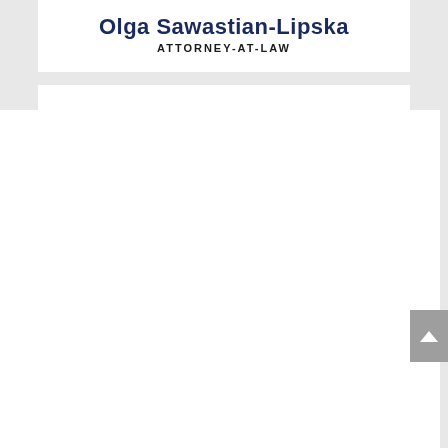Olga Sawastian-Lipska
ATTORNEY-AT-LAW
[Figure (logo): ZCP Legal + Tax watermark logo repeated in a tiled diagonal pattern across the lower portion of the page. The logo consists of a ZCP monogram with colored squares and the text ZIELINSKI CHECINSKI in grey, along with LEGAL + TAX subtext.]